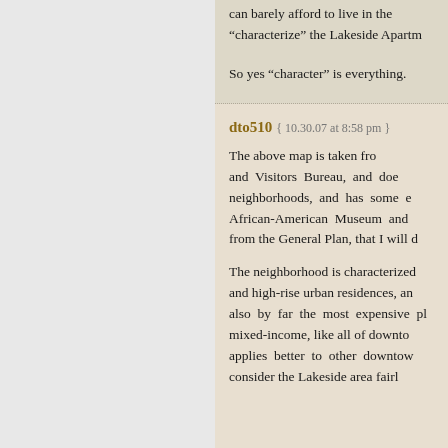can barely afford to live in the… "characterize" the Lakeside Apartm…
So yes “character” is everything.
dto510 { 10.30.07 at 8:58 pm }
The above map is taken fro… and Visitors Bureau, and doe… neighborhoods, and has some e… African-American Museum and … from the General Plan, that I will d…
The neighborhood is characterized… and high-rise urban residences, an… also by far the most expensive pl… mixed-income, like all of downto… applies better to other downtow… consider the Lakeside area fairl…